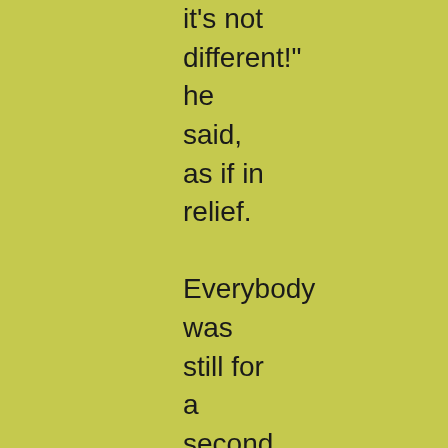it's not different!" he said, as if in relief.

Everybody was still for a second. Then he suddenly sprang forward, picked a tart